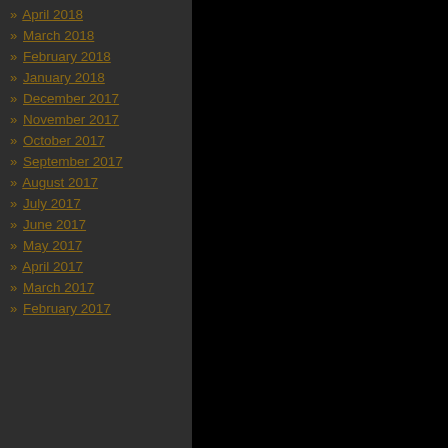» April 2018
» March 2018
» February 2018
» January 2018
» December 2017
» November 2017
» October 2017
» September 2017
» August 2017
» July 2017
» June 2017
» May 2017
» April 2017
» March 2017
» February 2017